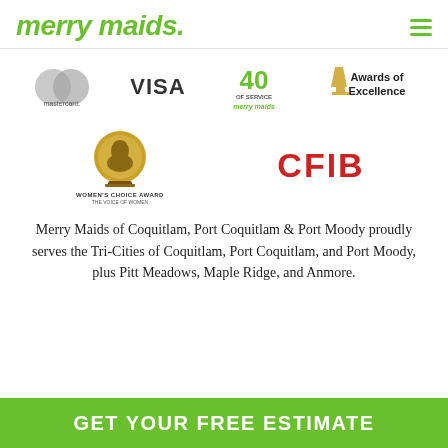[Figure (logo): Merry Maids logo in italic green text with a dot, and a green hamburger menu icon on the right]
[Figure (logo): Row of logos: Mastercard, VISA, Merry Maids 40 Years of Service, Awards of Excellence]
[Figure (logo): Row of logos: Women's Choice Award (medallion) and CFIB logo in red]
Merry Maids of Coquitlam, Port Coquitlam & Port Moody proudly serves the Tri-Cities of Coquitlam, Port Coquitlam, and Port Moody, plus Pitt Meadows, Maple Ridge, and Anmore.
GET YOUR FREE ESTIMATE